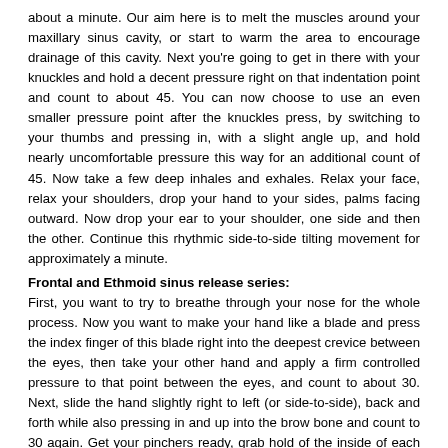about a minute. Our aim here is to melt the muscles around your maxillary sinus cavity, or start to warm the area to encourage drainage of this cavity. Next you're going to get in there with your knuckles and hold a decent pressure right on that indentation point and count to about 45. You can now choose to use an even smaller pressure point after the knuckles press, by switching to your thumbs and pressing in, with a slight angle up, and hold nearly uncomfortable pressure this way for an additional count of 45. Now take a few deep inhales and exhales. Relax your face, relax your shoulders, drop your hand to your sides, palms facing outward. Now drop your ear to your shoulder, one side and then the other. Continue this rhythmic side-to-side tilting movement for approximately a minute.
Frontal and Ethmoid sinus release series:
First, you want to try to breathe through your nose for the whole process. Now you want to make your hand like a blade and press the index finger of this blade right into the deepest crevice between the eyes, then take your other hand and apply a firm controlled pressure to that point between the eyes, and count to about 30. Next, slide the hand slightly right to left (or side-to-side), back and forth while also pressing in and up into the brow bone and count to 30 again. Get your pinchers ready, grab hold of the inside of each eyebrow with a pincher and start to pull and roll outward, while working your way along the brow to the outside of the brow, then over the